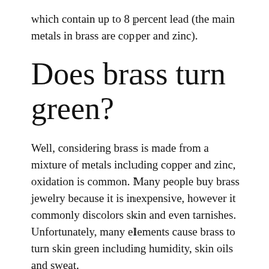which contain up to 8 percent lead (the main metals in brass are copper and zinc).
Does brass turn green?
Well, considering brass is made from a mixture of metals including copper and zinc, oxidation is common. Many people buy brass jewelry because it is inexpensive, however it commonly discolors skin and even tarnishes. Unfortunately, many elements cause brass to turn skin green including humidity, skin oils and sweat.
I I...